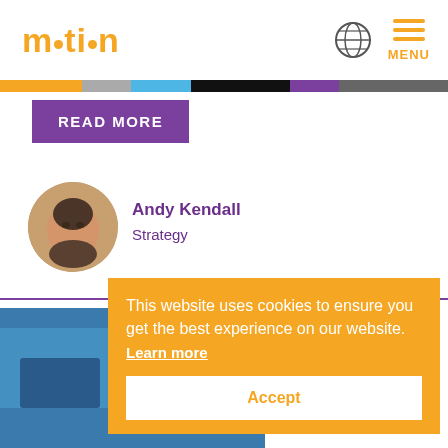motion MENU
READ MORE
[Figure (photo): Circular headshot photo of Andy Kendall, a middle-aged man with a beard]
Andy Kendall
Strategy
This website uses cookies to ensure you get the best experience on our website. Learn more
Accept